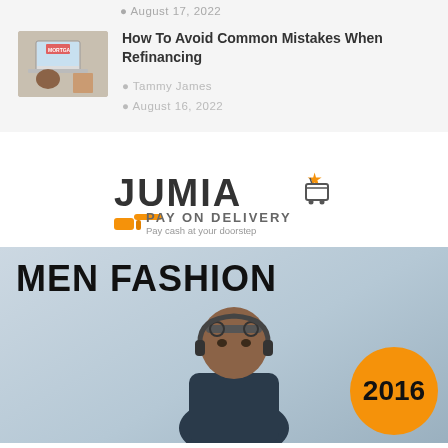August 17, 2022
[Figure (photo): Laptop with mortgage screen and hands typing, small photo thumbnail]
How To Avoid Common Mistakes When Refinancing
Tammy James
August 16, 2022
[Figure (logo): Jumia logo with shopping cart and star icon, Pay On Delivery with hand holding cash icon]
[Figure (illustration): Men Fashion 2016 banner with man wearing sunglasses and headphones on blue-grey background with orange circle showing 2016]